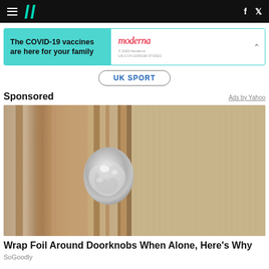HuffPost navigation with hamburger menu, logo, Facebook and Twitter icons
[Figure (other): Moderna COVID-19 vaccine advertisement banner: 'The COVID-19 vaccines are here for your family' with Moderna logo]
UK SPORT
Sponsored
Ads by Yahoo
[Figure (photo): Close-up photo of a door knob wrapped in aluminum/tin foil on a wooden door]
Wrap Foil Around Doorknobs When Alone, Here's Why
SoGoodly